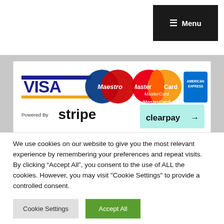[Figure (screenshot): Navigation bar with Menu button (hamburger icon) in top right corner, dark background]
[Figure (logo): Payment methods banner showing VISA, MasterCard, Maestro, American Express logos, Powered By Stripe text, and Clearpay logo on white background]
We use cookies on our website to give you the most relevant experience by remembering your preferences and repeat visits. By clicking “Accept All”, you consent to the use of ALL the cookies. However, you may visit "Cookie Settings" to provide a controlled consent.
Cookie Settings
Accept All